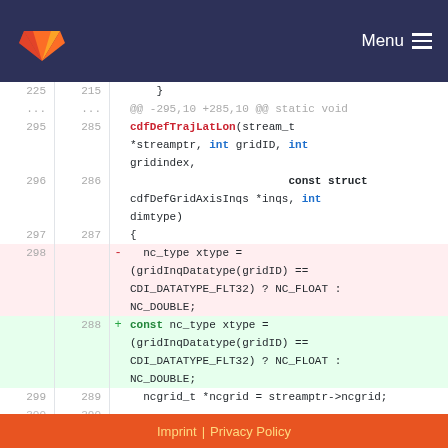GitLab Menu
Code diff showing cdfDefTrajLatLon function with nc_type xtype change from non-const to const
Imprint | Privacy Policy